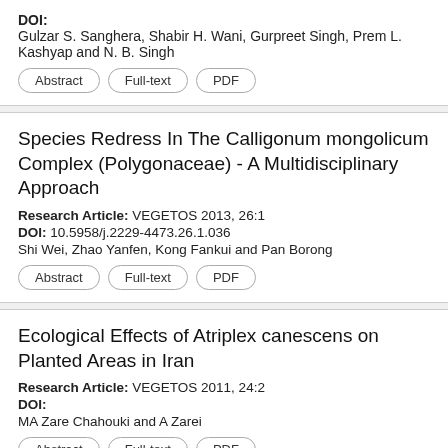DOI:
Gulzar S. Sanghera, Shabir H. Wani, Gurpreet Singh, Prem L. Kashyap and N. B. Singh
Abstract
Full-text
PDF
Species Redress In The Calligonum mongolicum Complex (Polygonaceae) - A Multidisciplinary Approach
Research Article: VEGETOS 2013, 26:1
DOI: 10.5958/j.2229-4473.26.1.036
Shi Wei, Zhao Yanfen, Kong Fankui and Pan Borong
Abstract
Full-text
PDF
Ecological Effects of Atriplex canescens on Planted Areas in Iran
Research Article: VEGETOS 2011, 24:2
DOI:
MA Zare Chahouki and A Zarei
Abstract
Full-text
PDF